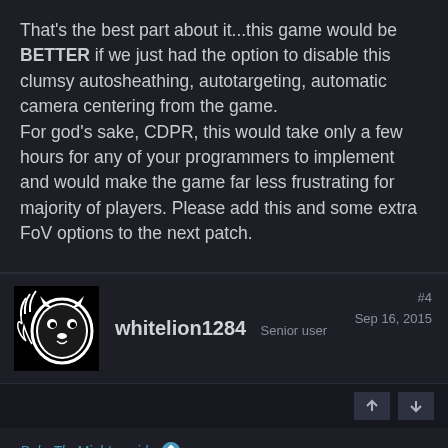That's the best part about it...this game would be BETTER if we just had the option to disable this clumsy autosheathing, autotargeting, automatic camera centering from the game.
For god's sake, CDPR, this would take only a few hours for any of your programmers to implement and would make the game far less frustrating for majority of players. Please add this and some extra FoV options to the next patch.
[Figure (illustration): Avatar of user whitelion1284: black and white lion head silhouette logo]
whitelion1284  Senior user  #4  Sep 16, 2015
BoboTheMighty said:
That's the best part about it...this game would be BETTER if